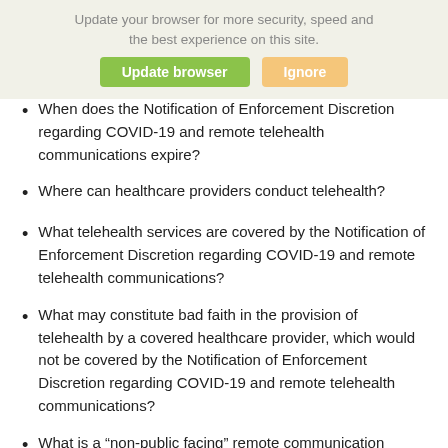[Figure (screenshot): Browser update banner overlay with 'Update browser' green button and 'Ignore' orange button, with partially visible text behind it]
When does the Notification of Enforcement Discretion regarding COVID-19 and remote telehealth communications expire?
Where can healthcare providers conduct telehealth?
What telehealth services are covered by the Notification of Enforcement Discretion regarding COVID-19 and remote telehealth communications?
What may constitute bad faith in the provision of telehealth by a covered healthcare provider, which would not be covered by the Notification of Enforcement Discretion regarding COVID-19 and remote telehealth communications?
What is a “non-public facing” remote communication product?
If a covered healthcare provider uses telehealth services during